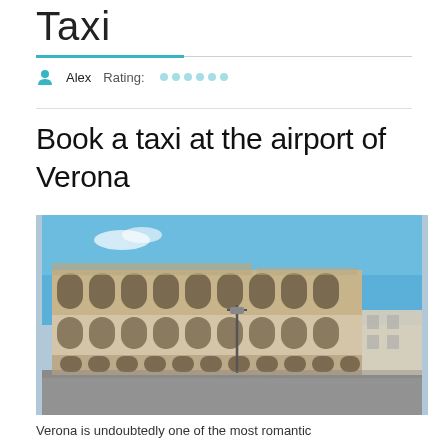Taxi
Alex   Rating: . . . . . .
Book a taxi at the airport of Verona
[Figure (photo): Photo of the Verona Arena (ancient Roman amphitheatre), a large stone colosseum-style structure with arched galleries, photographed from street level on a clear sunny day with blue sky.]
Verona is undoubtedly one of the most romantic